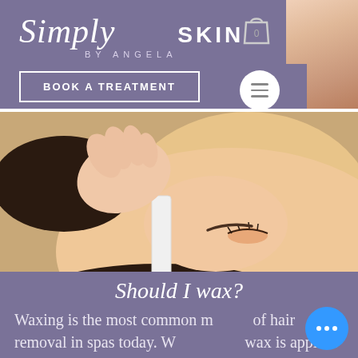Simply SKIN BY ANGELA
[Figure (screenshot): Shopping bag icon in top header area]
[Figure (screenshot): Skin/face close-up photo in top right corner of header]
Book a treatment
[Figure (photo): Woman lying down receiving eyebrow waxing treatment, hands applying wax strip near eyebrow]
Should I wax?
Waxing is the most common method of hair removal in spas today. W... wax is applied to the area and then